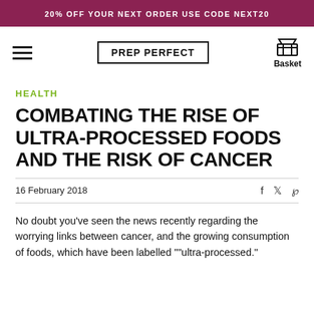20% OFF YOUR NEXT ORDER USE CODE NEXT20
[Figure (logo): Navigation bar with hamburger menu, PREP PERFECT logo in bordered box, and basket icon with 'Basket' label]
HEALTH
COMBATING THE RISE OF ULTRA-PROCESSED FOODS AND THE RISK OF CANCER
16 February 2018
No doubt you've seen the news recently regarding the worrying links between cancer, and the growing consumption of foods, which have been labelled ""ultra-processed."